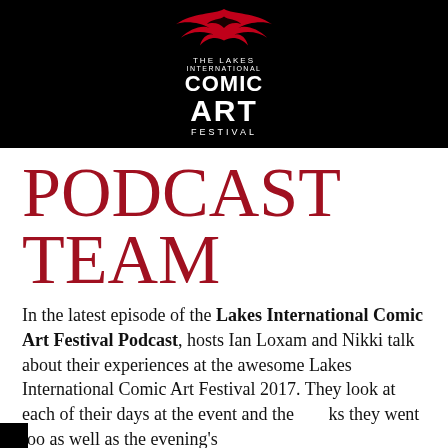[Figure (logo): The Lakes International Comic Art Festival logo: bird/wing graphic above text reading 'THE LAKES INTERNATIONAL COMIC ART FESTIVAL' on black background]
PODCAST TEAM
In the latest episode of the Lakes International Comic Art Festival Podcast, hosts Ian Loxam and Nikki talk about their experiences at the awesome Lakes International Comic Art Festival 2017. They look at each of their days at the event and the talks they went too as well as the evening's entertainment.